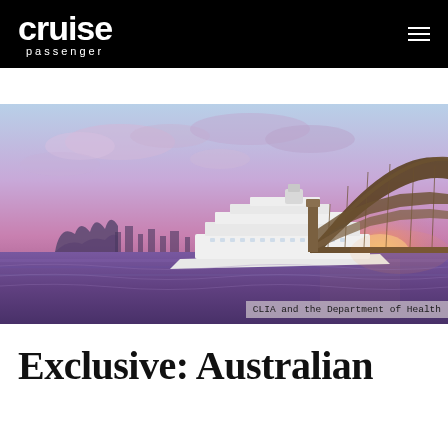cruise passenger
[Figure (photo): A cruise ship sailing in Sydney Harbour at sunset with the Sydney Opera House visible on the left and the Sydney Harbour Bridge on the right. The sky is pink and purple with scattered clouds. The water reflects warm sunset colours.]
CLIA and the Department of Health
Exclusive: Australian